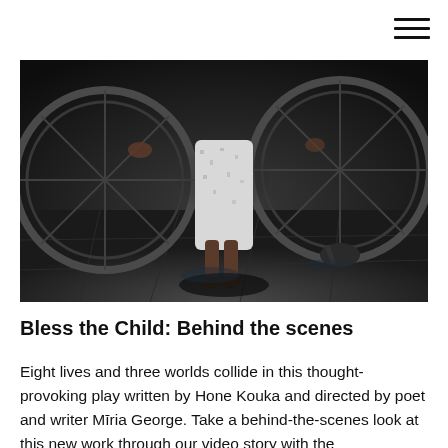[Figure (photo): Dark moody black and white photograph of a child standing barefoot on a stone floor, wearing a white patterned dress/robe, with large circular wheel-like structures on either side of them. The scene is dramatic and atmospheric.]
Bless the Child: Behind the scenes
Eight lives and three worlds collide in this thought-provoking play written by Hone Kouka and directed by poet and writer Māria George. Take a behind-the-scenes look at this new work through our video story with the